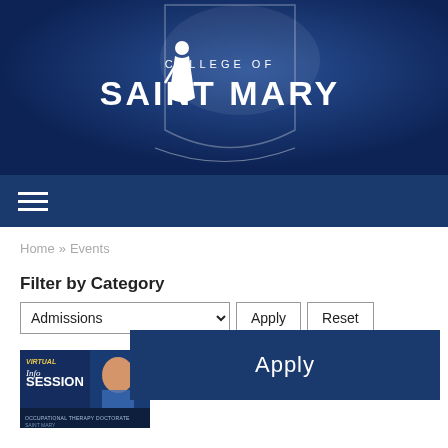[Figure (logo): College of Saint Mary logo with figure icon and text on dark blue background]
Navigation bar with hamburger menu
Home » Events
Filter by Category
Admissions [dropdown] Apply Reset
[Figure (photo): Virtual Info Session banner for Occupational Therapy Doctorate at College of Saint Mary, with a person smiling]
Occupational Therapy Doctorate Virtual Information Session
...individuals who are interested in the Occupational Therapy Doctorate program at College of Saint Mary are welcome to join us for the Virtual Information Session. Register...
Learn More »
[Figure (screenshot): Apply overlay button over the content area]